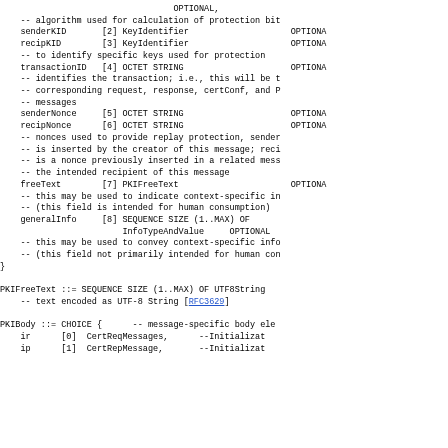OPTIONAL,
    -- algorithm used for calculation of protection bit
    senderKID       [2] KeyIdentifier                    OPTIONA
    recipKID        [3] KeyIdentifier                    OPTIONA
    -- to identify specific keys used for protection
    transactionID   [4] OCTET STRING                     OPTIONA
    -- identifies the transaction; i.e., this will be t
    -- corresponding request, response, certConf, and P
    -- messages
    senderNonce     [5] OCTET STRING                     OPTIONA
    recipNonce      [6] OCTET STRING                     OPTIONA
    -- nonces used to provide replay protection, sender
    -- is inserted by the creator of this message; reci
    -- is a nonce previously inserted in a related mess
    -- the intended recipient of this message
    freeText        [7] PKIFreeText                      OPTIONA
    -- this may be used to indicate context-specific in
    -- (this field is intended for human consumption)
    generalInfo     [8] SEQUENCE SIZE (1..MAX) OF
                        InfoTypeAndValue     OPTIONAL
    -- this may be used to convey context-specific info
    -- (this field not primarily intended for human con
}

PKIFreeText ::= SEQUENCE SIZE (1..MAX) OF UTF8String
    -- text encoded as UTF-8 String [RFC3629]

PKIBody ::= CHOICE {      -- message-specific body ele
    ir      [0]  CertReqMessages,      --Initializat
    ip      [1]  CertRepMessage,       --Initializat